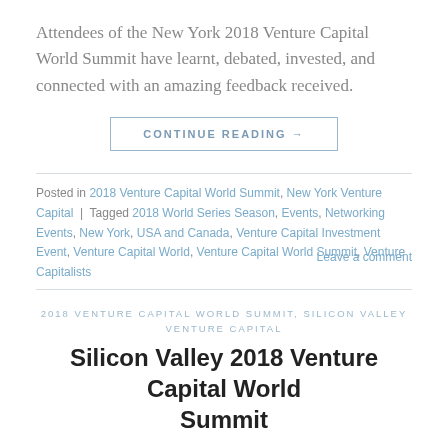Attendees of the New York 2018 Venture Capital World Summit have learnt, debated, invested, and connected with an amazing feedback received.
CONTINUE READING →
Posted in 2018 Venture Capital World Summit, New York Venture Capital | Tagged 2018 World Series Season, Events, Networking Events, New York, USA and Canada, Venture Capital Investment Event, Venture Capital World, Venture Capital World Summit, Venture Capitalists   Leave a comment
2018 VENTURE CAPITAL WORLD SUMMIT, SILICON VALLEY VENTURE CAPITAL
Silicon Valley 2018 Venture Capital World Summit
POSTED ON 05/02/2018 BY ELIO ASSUNCAO   INNOVATION